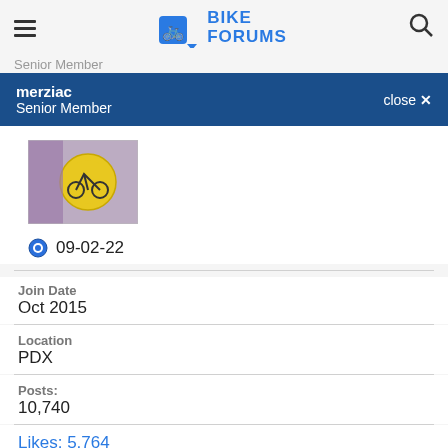Bike Forums
Senior Member
merziac
Senior Member
close ✕
[Figure (photo): Profile avatar thumbnail showing a yellow circular sticker on a purple bicycle frame tube]
09-02-22
Join Date
Oct 2015
Location
PDX
Posts:
10,740
Likes: 5,764